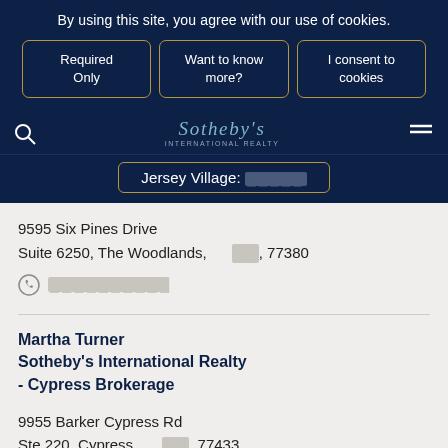By using this site, you agree with our use of cookies.
Required Only
Want to know more?
I consent to cookies
Sotheby's INTERNATIONAL REALTY
Jersey Village: [redacted]
9595 Six Pines Drive
Suite 6250, The Woodlands, [redacted], 77380
[phone redacted]
Martha Turner Sotheby's International Realty - Cypress Brokerage
9955 Barker Cypress Rd
Ste 220, Cypress, [redacted], 77433